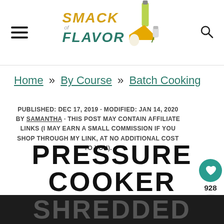[Figure (logo): Smack of Flavor logo with text and food illustration]
Home » By Course » Batch Cooking
PUBLISHED: DEC 17, 2019 · MODIFIED: JAN 14, 2020 BY SAMANTHA · THIS POST MAY CONTAIN AFFILIATE LINKS (I MAY EARN A SMALL COMMISSION IF YOU SHOP THROUGH MY LINK, AT NO ADDITIONAL COST TO YOU).
PRESSURE COOKER SHREDDED